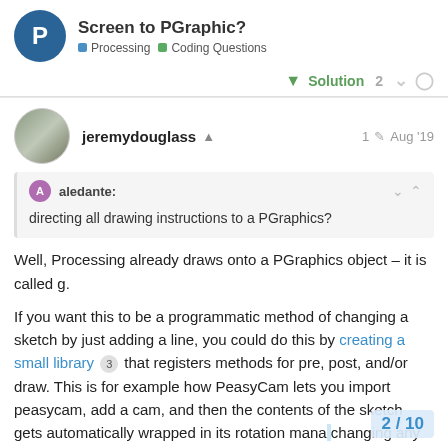Screen to PGraphic? — Processing · Coding Questions
Solution 2
jeremydouglass · 1 edit · Aug '19
aledante: directing all drawing instructions to a PGraphics?
Well, Processing already draws onto a PGraphics object – it is called g.

If you want this to be a programmatic method of changing a sketch by just adding a line, you could do this by creating a small library 3 that registers methods for pre, post, and/or draw. This is for example how PeasyCam lets you import peasycam, add a cam, and then the contents of the sketch gets automatically wrapped in its rotation mana... changing any of the sketch code.
2 / 10